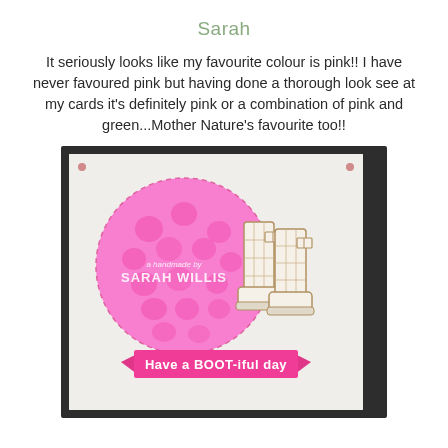Sarah
It seriously looks like my favourite colour is pink!! I have never favoured pink but having done a thorough look see at my cards it's definitely pink or a combination of pink and green...Mother Nature's favourite too!!
[Figure (photo): A handmade greeting card displayed in a dark frame. The card has a light background with a large pink polka-dot circle in the center. On the right side of the circle is an illustration of plaid Wellington boots. In the center of the circle is a stamp reading 'handmade by SARAH WILLIS'. At the bottom is a pink banner ribbon reading 'Have a BOOT-iful day'.]